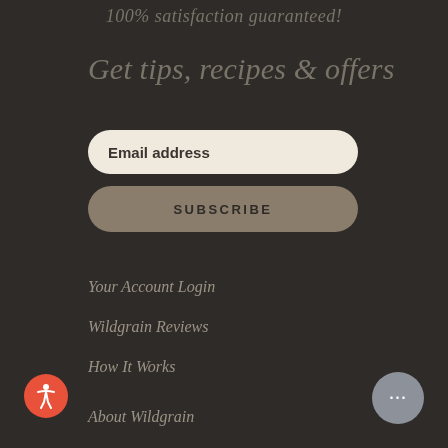100% satisfaction guaranteed!
Get tips, recipes & offers
Email address
SUBSCRIBE
Your Account Login
Wildgrain Reviews
How It Works
About Wildgrain